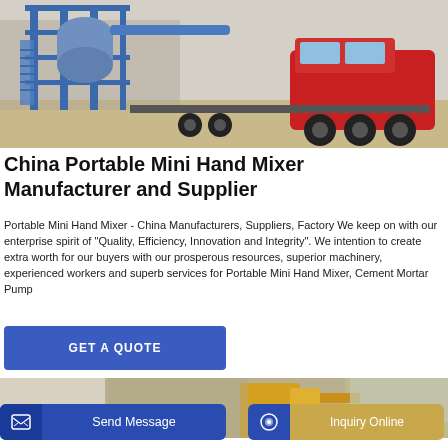[Figure (photo): Photo of a portable concrete/cement mixing plant mounted on a blue steel frame trailer, with a large red FAW truck cab attached, photographed in an industrial yard.]
China Portable Mini Hand Mixer Manufacturer and Supplier
Portable Mini Hand Mixer - China Manufacturers, Suppliers, Factory We keep on with our enterprise spirit of "Quality, Efficiency, Innovation and Integrity". We intention to create extra worth for our buyers with our prosperous resources, superior machinery, experienced workers and superb services for Portable Mini Hand Mixer, Cement Mortar Pump
[Figure (other): Blue button labeled GET A QUOTE]
[Figure (photo): Partial photo of construction/mixing equipment in an industrial yard setting, partially obscured by UI overlay buttons.]
[Figure (other): Send Message button (blue) and Inquiry Online button (tan/gold) overlaid at the bottom of the page.]